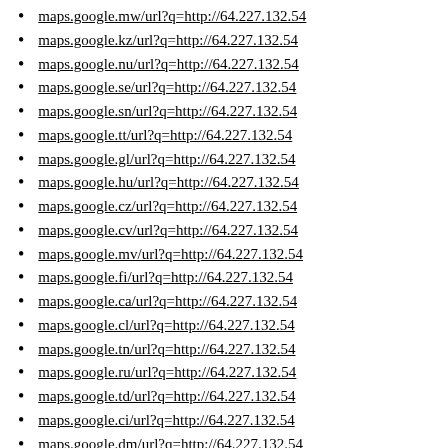maps.google.mw/url?q=http://64.227.132.54
maps.google.kz/url?q=http://64.227.132.54
maps.google.nu/url?q=http://64.227.132.54
maps.google.se/url?q=http://64.227.132.54
maps.google.sn/url?q=http://64.227.132.54
maps.google.tt/url?q=http://64.227.132.54
maps.google.gl/url?q=http://64.227.132.54
maps.google.hu/url?q=http://64.227.132.54
maps.google.cz/url?q=http://64.227.132.54
maps.google.cv/url?q=http://64.227.132.54
maps.google.mv/url?q=http://64.227.132.54
maps.google.fi/url?q=http://64.227.132.54
maps.google.ca/url?q=http://64.227.132.54
maps.google.cl/url?q=http://64.227.132.54
maps.google.tn/url?q=http://64.227.132.54
maps.google.ru/url?q=http://64.227.132.54
maps.google.td/url?q=http://64.227.132.54
maps.google.ci/url?q=http://64.227.132.54
maps.google.dm/url?q=http://64.227.132.54